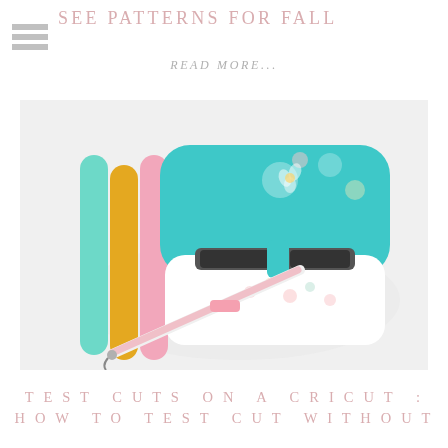SEE PATTERNS FOR FALL
READ MORE...
[Figure (photo): Top-down view of a Cricut cutting machine with floral pattern (teal/white), with colorful vinyl rolls (teal, gold, pink) to the left and a Cricut weeding tool leaning against the machine, on a white background.]
TEST CUTS ON A CRICUT : HOW TO TEST CUT WITHOUT